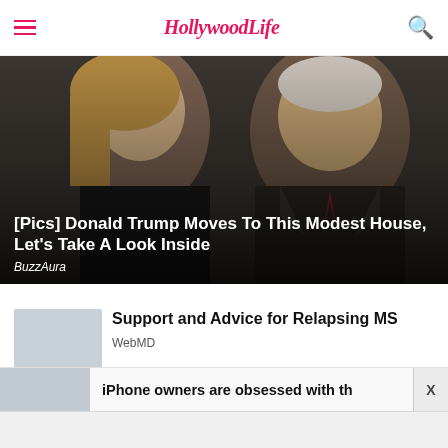HollywoodLife
[Figure (photo): Hero image of two people (a woman and a man) with a sponsored article overlay: '[Pics] Donald Trump Moves To This Modest House, Let's Take A Look Inside' by BuzzAura]
[Pics] Donald Trump Moves To This Modest House, Let's Take A Look Inside
BuzzAura
Support and Advice for Relapsing MS
WebMD
iPhone owners are obsessed with th